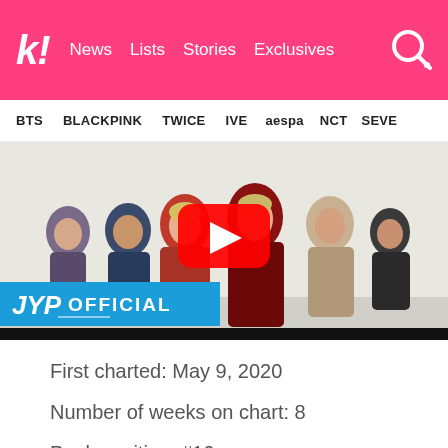k! News  Lists  Stories  Exclusives
BTS  BLACKPINK  TWICE  IVE  aespa  NCT  SEVE
[Figure (photo): YouTube video thumbnail showing a K-pop group (GOT7 or similar JYP group) posing, with a large red YouTube play button in the center and a JYP OFFICIAL label in the bottom left corner]
First charted: May 9, 2020
Number of weeks on chart: 8
Peak position: #10